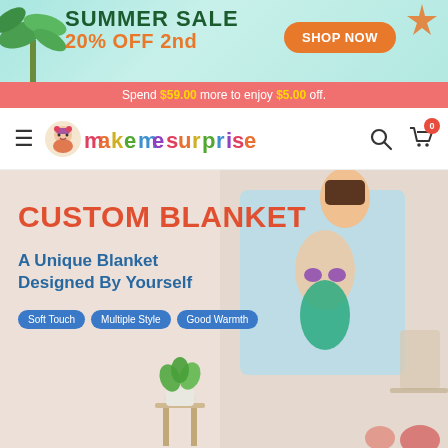[Figure (screenshot): Summer sale promotional banner with teal background, palm tree on left, starfish top right. Text: SUMMER SALE 20% OFF 2nd, SHOP NOW button in orange.]
Spend $59.00 more to enjoy $5.00 off.
[Figure (logo): MakeMeSurprise logo with cartoon character and colorful text]
[Figure (photo): Hero section with girl holding custom mermaid blanket. Text: CUSTOM BLANKET, A Unique Blanket Designed By Yourself. Tags: Soft Touch, Multiple Style, Good Warmth.]